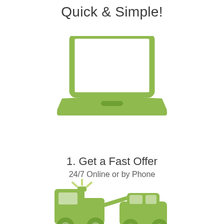Quick & Simple!
[Figure (illustration): Green outline icon of a laptop computer]
1. Get a Fast Offer
24/7 Online or by Phone
[Figure (illustration): Green icon of a tow truck with a car and light flashing on top]